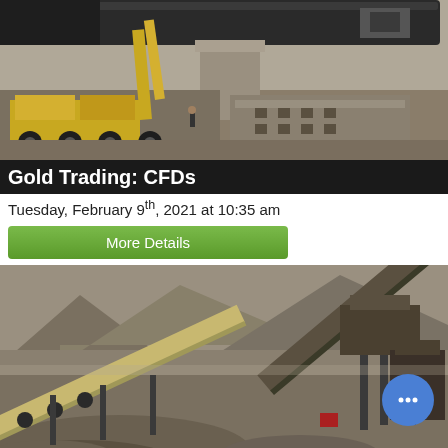[Figure (photo): Industrial mining or construction site with a large yellow crane truck and heavy machinery. A large cylindrical pipe/drum is visible overhead. Concrete structure and dusty ground visible.]
Gold Trading: CFDs
Tuesday, February 9th, 2021 at 10:35 am
More Details
[Figure (photo): Open-pit mining site with conveyor belts transporting crushed rock/gravel. Large piles of aggregate visible in foreground. Industrial conveyors and support structures in background against rocky hillside.]